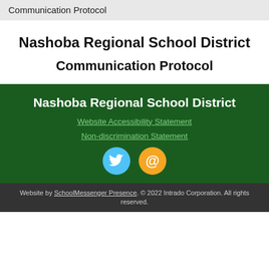Communication Protocol
Nashoba Regional School District
Communication Protocol
Nashoba Regional School District
Website Accessibility Statement
Non-discrimination Statement
[Figure (illustration): Twitter bird icon (blue circle) and email @ icon (orange circle)]
Website by SchoolMessenger Presence. © 2022 Intrado Corporation. All rights reserved.